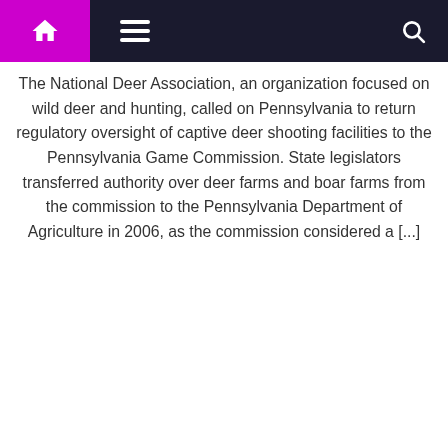Navigation bar with home, menu, and search icons
The National Deer Association, an organization focused on wild deer and hunting, called on Pennsylvania to return regulatory oversight of captive deer shooting facilities to the Pennsylvania Game Commission. State legislators transferred authority over deer farms and boar farms from the commission to the Pennsylvania Department of Agriculture in 2006, as the commission considered a [...]
April 28, 2022  Josie H. Googe  Comments Off
[Figure (photo): Two people in business attire at a table with a gavel and laptop, in an office setting with large windows and warm sunlight]